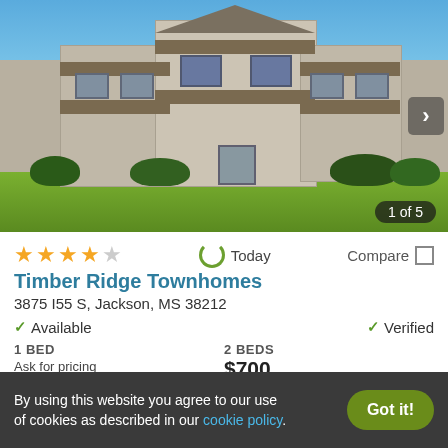[Figure (photo): Exterior photo of Timber Ridge Townhomes apartment complex, showing a multi-story brown/tan building with balconies and green lawn, blue sky. Photo counter '1 of 5' visible in bottom right.]
★★★★☆  Today  Compare □
Timber Ridge Townhomes
3875 I55 S, Jackson, MS 38212
✓ Available   ✓ Verified
1 BED
Ask for pricing
2 BEDS
$700
By using this website you agree to our use of cookies as described in our cookie policy.
Got it!